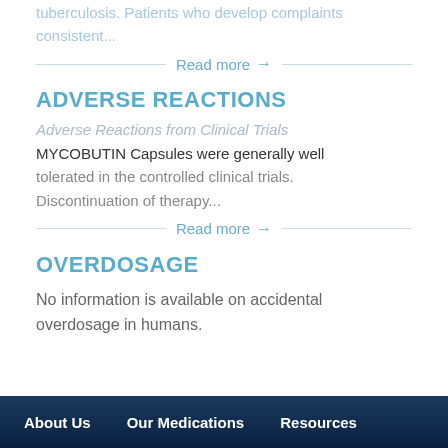tuberculosis. Patients who develop complaints consistent...
Read more →
ADVERSE REACTIONS
Adverse Reactions from Clinical Trials
MYCOBUTIN Capsules were generally well tolerated in the controlled clinical trials. Discontinuation of therapy...
Read more →
OVERDOSAGE
No information is available on accidental overdosage in humans.
About Us   Our Medications   Resources